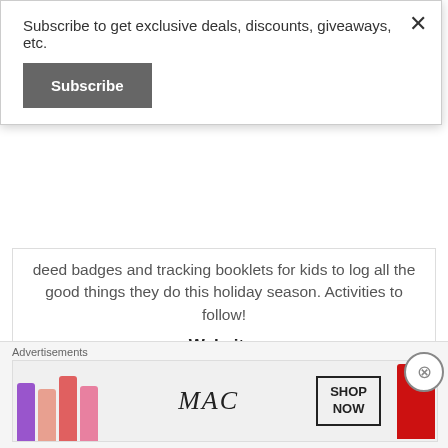Subscribe to get exclusive deals, discounts, giveaways, etc.
Subscribe
deed badges and tracking booklets for kids to log all the good things they do this holiday season. Activities to follow!
Website:
https://stores.barnesandnoble.com/event/9780062102502-0
[Figure (logo): Hanasldinn logo with circular image and large serif text]
Advertisements
[Figure (photo): MAC cosmetics advertisement banner showing colorful lipsticks, MAC logo, and SHOP NOW box]